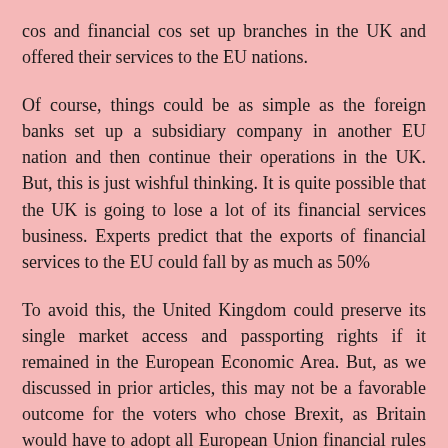cos and financial cos set up branches in the UK and offered their services to the EU nations.
Of course, things could be as simple as the foreign banks set up a subsidiary company in another EU nation and then continue their operations in the UK. But, this is just wishful thinking. It is quite possible that the UK is going to lose a lot of its financial services business. Experts predict that the exports of financial services to the EU could fall by as much as 50%
To avoid this, the United Kingdom could preserve its single market access and passporting rights if it remained in the European Economic Area. But, as we discussed in prior articles, this may not be a favorable outcome for the voters who chose Brexit, as Britain would have to adopt all European Union financial rules & regulations. In fact, as a consequence of not being an actual member of EU, they would even lose their ability to block any new regulations that could potentially damage them.
Of course, even being a member of the EU, the UK does not